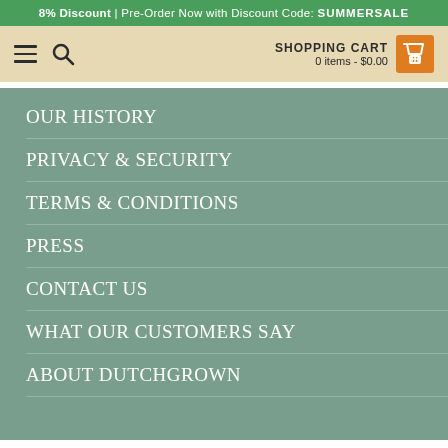8% Discount | Pre-Order Now with Discount Code: SUMMERSALE
[Figure (screenshot): Website header with hamburger menu icon, search icon on the left, and Shopping Cart (0 items - $0.00) with orange cart basket icon on the right, on a tan/beige background]
OUR HISTORY
PRIVACY & SECURITY
TERMS & CONDITIONS
PRESS
CONTACT US
WHAT OUR CUSTOMERS SAY
ABOUT DUTCHGROWN